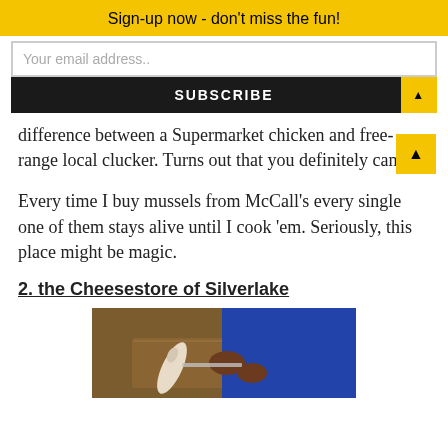Sign-up now - don't miss the fun!
Your email address..
SUBSCRIBE
difference between a Supermarket chicken and a free-range local clucker. Turns out that you definitely can.
Every time I buy mussels from McCall's every single one of them stays alive until I cook 'em. Seriously, this place might be magic.
2. the Cheesestore of Silverlake
[Figure (photo): Person in blue apron cutting or preparing food on a wooden cutting board, with a white rolling pin nearby]